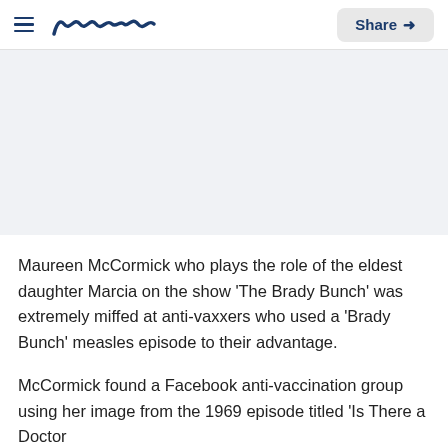Meaww | Share
[Figure (photo): Gray placeholder image area for article photo]
Maureen McCormick who plays the role of the eldest daughter Marcia on the show 'The Brady Bunch' was extremely miffed at anti-vaxxers who used a 'Brady Bunch' measles episode to their advantage.
McCormick found a Facebook anti-vaccination group using her image from the 1969 episode titled 'Is There a Doctor